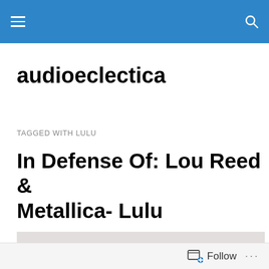audioeclectica — navigation bar
audioeclectica
TAGGED WITH LULU
In Defense Of: Lou Reed & Metallica- Lulu
[Figure (photo): Portrait of a young woman with a short brown bob haircut and bangs, gazing forward, against a light grey background. Pale skin with subtle makeup, bare shoulders.]
Follow ...